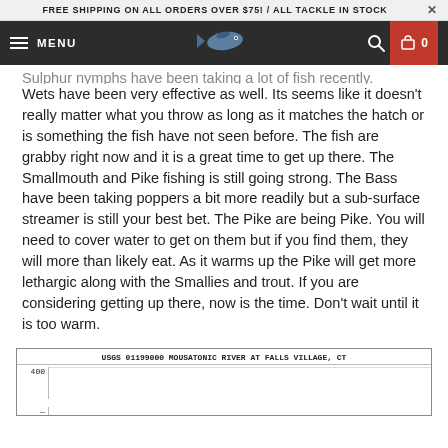FREE SHIPPING ON ALL ORDERS OVER $75! / ALL TACKLE IN STOCK
Sulphur nymphs have been taking a lot of fish recently. Wets have been very effective as well. Its seems like it doesn't really matter what you throw as long as it matches the hatch or is something the fish have not seen before. The fish are grabby right now and it is a great time to get up there. The Smallmouth and Pike fishing is still going strong. The Bass have been taking poppers a bit more readily but a sub-surface streamer is still your best bet. The Pike are being Pike. You will need to cover water to get on them but if you find them, they will more than likely eat. As it warms up the Pike will get more lethargic along with the Smallies and trout. If you are considering getting up there, now is the time. Don't wait until it is too warm.
[Figure (continuous-plot): USGS 01199000 HOUSATONIC RIVER AT FALLS VILLAGE, CT — river flow/gauge chart with y-axis starting at 400]